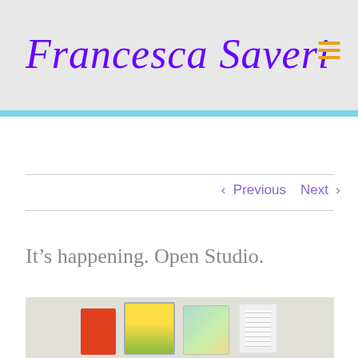Francesca Saveri
< Previous   Next >
It's happening. Open Studio.
[Figure (photo): Photo of framed artwork and illustrated books/notebooks displayed on a surface, including an orange-red frame, a colorful illustrated book with plant designs, a yellow and green book, and a white picture frame with text inside.]